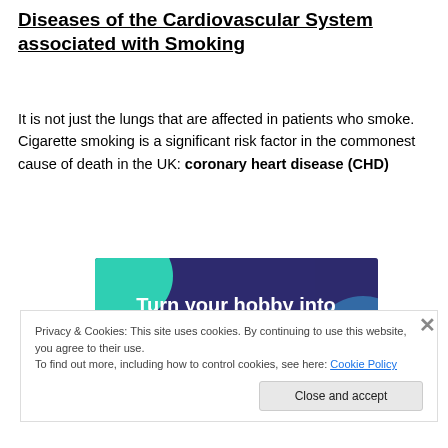Diseases of the Cardiovascular System associated with Smoking
It is not just the lungs that are affected in patients who smoke.  Cigarette smoking is a significant risk factor in the commonest cause of death in the UK: coronary heart disease (CHD)
[Figure (illustration): Advertisement banner with dark purple background and teal/blue geometric shapes, white bold text reading 'Turn your hobby into a business in 8 steps']
Privacy & Cookies: This site uses cookies. By continuing to use this website, you agree to their use.
To find out more, including how to control cookies, see here: Cookie Policy
Close and accept